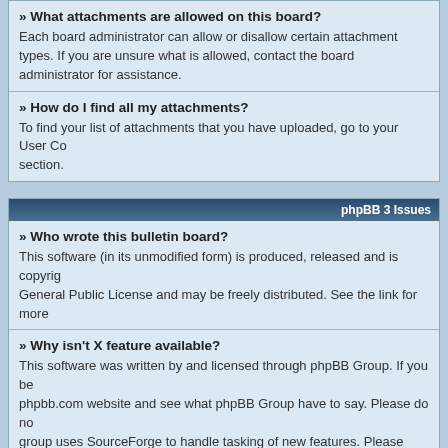» What attachments are allowed on this board?
Each board administrator can allow or disallow certain attachment types. If you are unsure what is allowed, contact the board administrator for assistance.
» How do I find all my attachments?
To find your list of attachments that you have uploaded, go to your User Control Panel and follow the links to the attachments section.
phpBB 3 Issues
» Who wrote this bulletin board?
This software (in its unmodified form) is produced, released and is copyright phpBB Group. It is made available under the GNU General Public License and may be freely distributed. See the link for more details.
» Why isn't X feature available?
This software was written by and licensed through phpBB Group. If you believe a feature needs to be added then please visit the phpbb.com website and see what phpBB Group have to say. Please do not post feature requests to the board at phpbb.com, as the group uses SourceForge to handle tasking of new features. Please read through the forums and see what requests have already be for a feature and then follow the procedure given there.